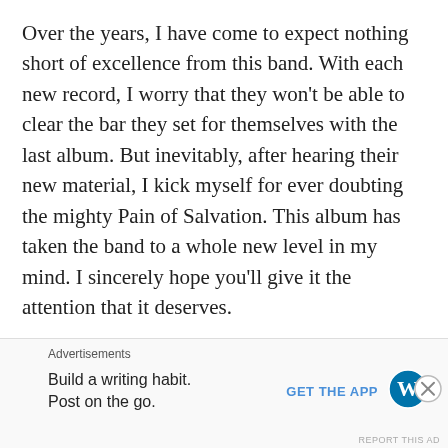Over the years, I have come to expect nothing short of excellence from this band. With each new record, I worry that they won't be able to clear the bar they set for themselves with the last album. But inevitably, after hearing their new material, I kick myself for ever doubting the mighty Pain of Salvation. This album has taken the band to a whole new level in my mind. I sincerely hope you'll give it the attention that it deserves.
Pain of Salvation's new album, In the Passing Light of Day, will be released on January 13,
Advertisements
Build a writing habit. Post on the go.
GET THE APP